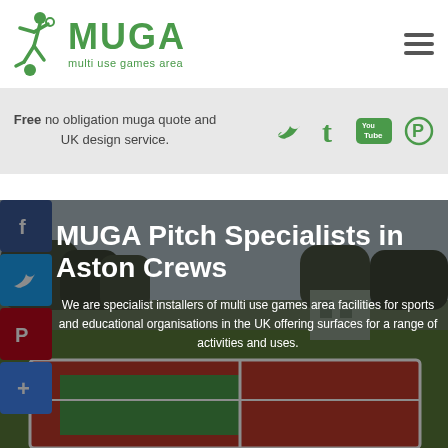[Figure (logo): MUGA multi use games area logo with green running figure icon and green text]
[Figure (infographic): Hamburger menu icon (three horizontal lines)]
[Figure (infographic): Social media icons: Twitter bird, Tumblr t, YouTube logo, Pinterest P in green on gray background]
Free no obligation muga quote and UK design service.
[Figure (infographic): Social share sidebar buttons: Facebook f (blue), Twitter bird (blue), Pinterest P (red), Plus/share (blue)]
MUGA Pitch Specialists in Aston Crews
We are specialist installers of multi use games area facilities for sports and educational organisations in the UK offering surfaces for a range of activities and uses.
[Figure (photo): Aerial/ground-level photo of a multi-use games area (MUGA) sports pitch with red and green surfaces, trees in background, partially overlaid with dark translucent banner]